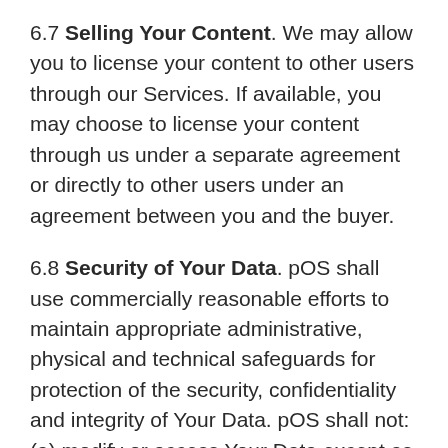6.7 Selling Your Content. We may allow you to license your content to other users through our Services. If available, you may choose to license your content through us under a separate agreement or directly to other users under an agreement between you and the buyer.
6.8 Security of Your Data. pOS shall use commercially reasonable efforts to maintain appropriate administrative, physical and technical safeguards for protection of the security, confidentiality and integrity of Your Data. pOS shall not: (a) modify or access Your Data except as necessary to provide the Services, prevent or resolve service or technical problems, or at Your request in connection with Your-support matters; or (b) disclose Your Data except as compelled by Law or other legal proceedings in accordance with Section 6.11, or as expressly permitted in writing by...